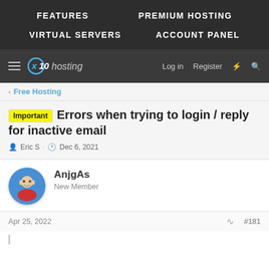FEATURES   PREMIUM HOSTING   VIRTUAL SERVERS   ACCOUNT PANEL
x10hosting  Log in  Register
Free Hosting
Important  Errors when trying to login / reply for inactive email
Eric S · Dec 6, 2021
AnjgAs
New Member
Apr 25, 2022  #181